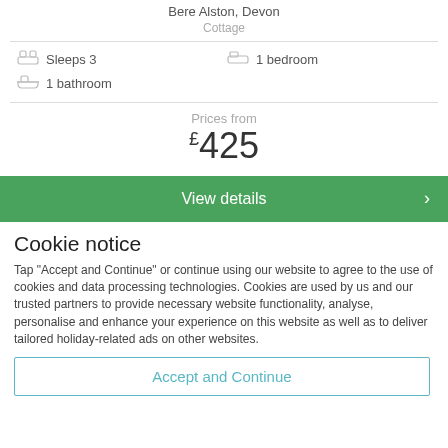Bere Alston, Devon
Cottage
Sleeps 3
1 bedroom
1 bathroom
Prices from £425
View details
Cookie notice
Tap "Accept and Continue" or continue using our website to agree to the use of cookies and data processing technologies. Cookies are used by us and our trusted partners to provide necessary website functionality, analyse, personalise and enhance your experience on this website as well as to deliver tailored holiday-related ads on other websites.
Accept and Continue